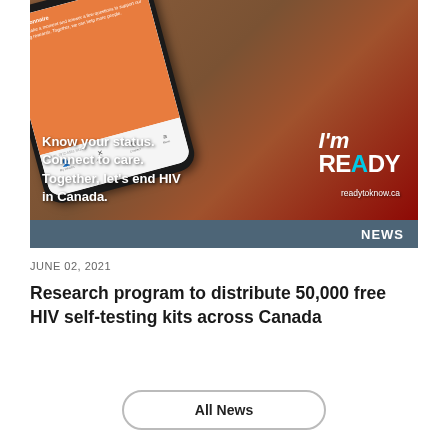[Figure (photo): A smartphone showing a questionnaire app screen with an orange background asking users to answer questions for HIV research, placed on a wooden surface with red fabric. The image includes 'I'm READY' branding and the text 'Know your status. Connect to care. Together, let's end HIV in Canada.' with the website readytoknow.ca. A 'NEWS' banner appears at the bottom of the image.]
JUNE 02, 2021
Research program to distribute 50,000 free HIV self-testing kits across Canada
All News